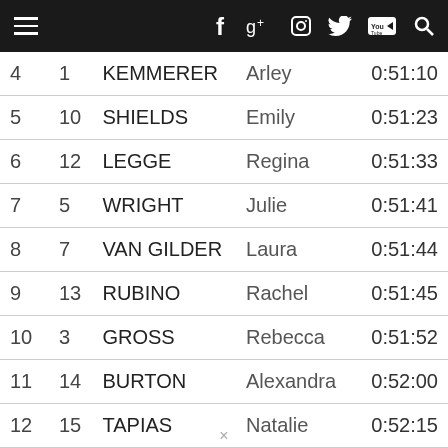Navigation bar with menu, Facebook, Google+, Instagram, Twitter, YouTube, Search icons
| Pos | Bib | Last Name | First Name | Time |
| --- | --- | --- | --- | --- |
| 4 | 1 | KEMMERER | Arley | 0:51:10 |
| 5 | 10 | SHIELDS | Emily | 0:51:23 |
| 6 | 12 | LEGGE | Regina | 0:51:33 |
| 7 | 5 | WRIGHT | Julie | 0:51:41 |
| 8 | 7 | VAN GILDER | Laura | 0:51:44 |
| 9 | 13 | RUBINO | Rachel | 0:51:45 |
| 10 | 3 | GROSS | Rebecca | 0:51:52 |
| 11 | 14 | BURTON | Alexandra | 0:52:00 |
| 12 | 15 | TAPIAS | Natalie | 0:52:15 |
| 13 | 6 | CUMMING | Kathryn | 0:52:19 |
×